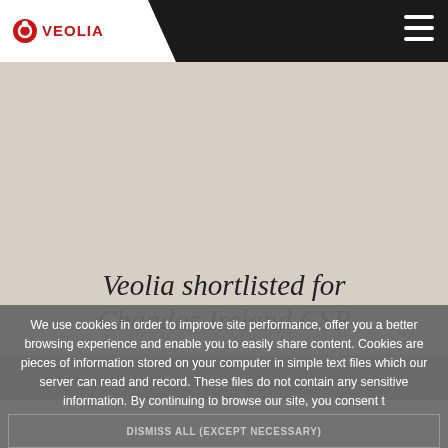Veolia [logo] navigation bar with hamburger menu
[Figure (logo): Veolia logo with red circle and 'VEOLIA' text in red on white tab background]
Veolia shortlisted for Chandos Ireland CSR
We use cookies in order to improve site performance, offer you a better browsing experience and enable you to easily share content. Cookies are pieces of information stored on your computer in simple text files which our server can read and record. These files do not contain any sensitive information. By continuing to browse our site, you consent t
DISMISS ALL (EXCEPT NECESSARY)